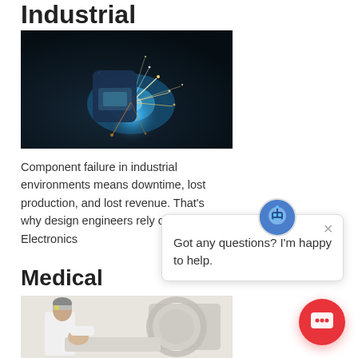Industrial
[Figure (photo): A welder wearing a protective helmet with sparks flying during industrial welding, set against a dark background with blue arc light.]
Component failure in industrial environments means downtime, lost production, and lost revenue. That’s why design engineers rely on Standex Electronics
Medical
[Figure (photo): A doctor in a white coat attending to a patient lying in a medical imaging machine (MRI/CT scanner).]
[Figure (screenshot): Chat popup with avatar icon and message: Got any questions? I’m happy to help.]